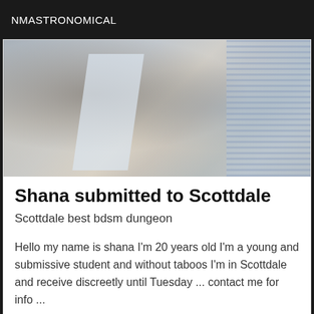NMASTRONOMICAL
[Figure (photo): Close-up photo showing a person bent over, wearing gray clothing, with a white diagonal fabric element and blue striped fabric visible on the right side]
Shana submitted to Scottdale
Scottdale best bdsm dungeon
Hello my name is shana I'm 20 years old I'm a young and submissive student and without taboos I'm in Scottdale and receive discreetly until Tuesday ... contact me for info ...
[Figure (photo): Partial photo of a person lying down, with an 'Online' badge overlay in the top right corner]